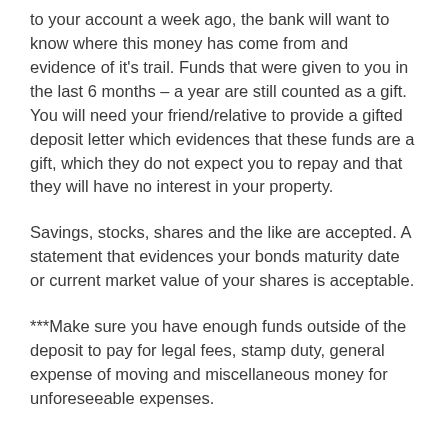to your account a week ago, the bank will want to know where this money has come from and evidence of it's trail. Funds that were given to you in the last 6 months – a year are still counted as a gift. You will need your friend/relative to provide a gifted deposit letter which evidences that these funds are a gift, which they do not expect you to repay and that they will have no interest in your property.
Savings, stocks, shares and the like are accepted. A statement that evidences your bonds maturity date or current market value of your shares is acceptable.
***Make sure you have enough funds outside of the deposit to pay for legal fees, stamp duty, general expense of moving and miscellaneous money for unforeseeable expenses.